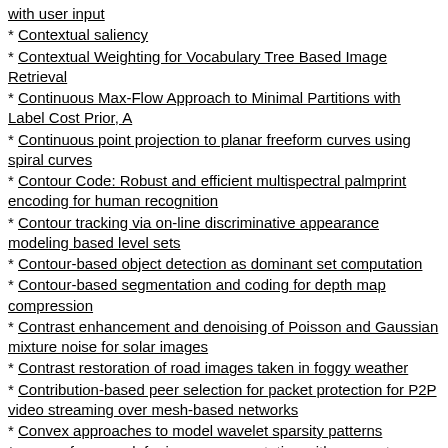with user input
Contextual saliency
Contextual Weighting for Vocabulary Tree Based Image Retrieval
Continuous Max-Flow Approach to Minimal Partitions with Label Cost Prior, A
Continuous point projection to planar freeform curves using spiral curves
Contour Code: Robust and efficient multispectral palmprint encoding for human recognition
Contour tracking via on-line discriminative appearance modeling based level sets
Contour-based object detection as dominant set computation
Contour-based segmentation and coding for depth map compression
Contrast enhancement and denoising of Poisson and Gaussian mixture noise for solar images
Contrast restoration of road images taken in foggy weather
Contribution-based peer selection for packet protection for P2P video streaming over mesh-based networks
Convex approaches to model wavelet sparsity patterns
convex framework for image segmentation with moment constraints, A
convex minimization model in image restoration via one-